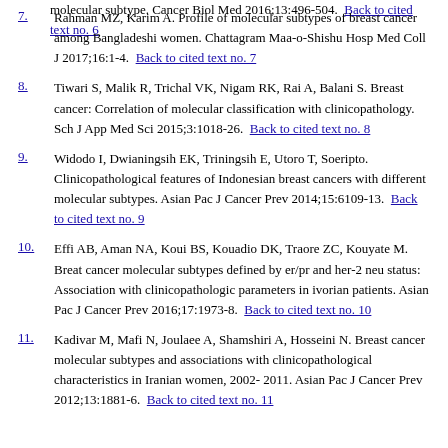molecular subtype. Cancer Biol Med 2016;13:496-504.  Back to cited text no. 6
7. Rahman MZ, Karim A. Profile of molecular subtypes of breast cancer among Bangladeshi women. Chattagram Maa-o-Shishu Hosp Med Coll J 2017;16:1-4.  Back to cited text no. 7
8. Tiwari S, Malik R, Trichal VK, Nigam RK, Rai A, Balani S. Breast cancer: Correlation of molecular classification with clinicopathology. Sch J App Med Sci 2015;3:1018-26.  Back to cited text no. 8
9. Widodo I, Dwianingsih EK, Triningsih E, Utoro T, Soeripto. Clinicopathological features of Indonesian breast cancers with different molecular subtypes. Asian Pac J Cancer Prev 2014;15:6109-13.  Back to cited text no. 9
10. Effi AB, Aman NA, Koui BS, Kouadio DK, Traore ZC, Kouyate M. Breat cancer molecular subtypes defined by er/pr and her-2 neu status: Association with clinicopathologic parameters in ivorian patients. Asian Pac J Cancer Prev 2016;17:1973-8.  Back to cited text no. 10
11. Kadivar M, Mafi N, Joulaee A, Shamshiri A, Hosseini N. Breast cancer molecular subtypes and associations with clinicopathological characteristics in Iranian women, 2002- 2011. Asian Pac J Cancer Prev 2012;13:1881-6.  Back to cited text no. 11